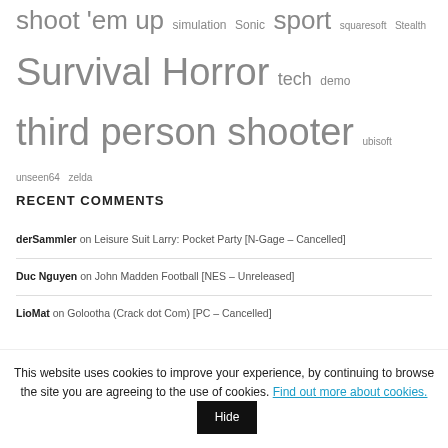shoot 'em up  simulation  Sonic  sport  squaresoft  Stealth  Survival Horror  tech demo  third person shooter  ubisoft  unseen64  zelda
RECENT COMMENTS
derSammler on Leisure Suit Larry: Pocket Party [N-Gage – Cancelled]
Duc Nguyen on John Madden Football [NES – Unreleased]
LioMat on Golootha (Crack dot Com) [PC – Cancelled]
This website uses cookies to improve your experience, by continuing to browse the site you are agreeing to the use of cookies. Find out more about cookies. Hide